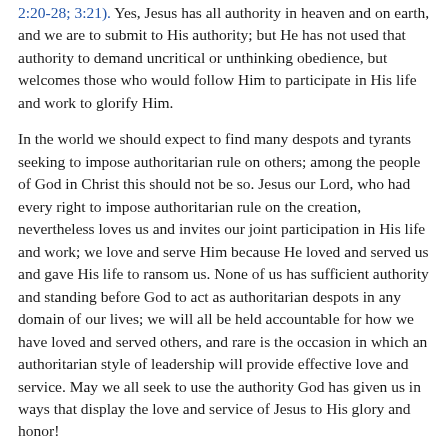2:20-28; 3:21). Yes, Jesus has all authority in heaven and on earth, and we are to submit to His authority; but He has not used that authority to demand uncritical or unthinking obedience, but welcomes those who would follow Him to participate in His life and work to glorify Him.
In the world we should expect to find many despots and tyrants seeking to impose authoritarian rule on others; among the people of God in Christ this should not be so. Jesus our Lord, who had every right to impose authoritarian rule on the creation, nevertheless loves us and invites our joint participation in His life and work; we love and serve Him because He loved and served us and gave His life to ransom us. None of us has sufficient authority and standing before God to act as authoritarian despots in any domain of our lives; we will all be held accountable for how we have loved and served others, and rare is the occasion in which an authoritarian style of leadership will provide effective love and service. May we all seek to use the authority God has given us in ways that display the love and service of Jesus to His glory and honor!
Ethan R. Longhenry
Authoritarian Leadership | The Voice 13:18; May 01, 2023